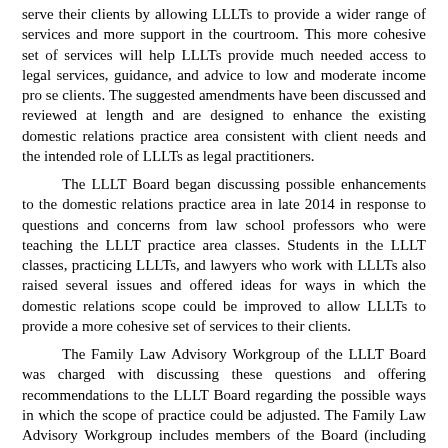serve their clients by allowing LLLTs to provide a wider range of services and more support in the courtroom. This more cohesive set of services will help LLLTs provide much needed access to legal services, guidance, and advice to low and moderate income pro se clients. The suggested amendments have been discussed and reviewed at length and are designed to enhance the existing domestic relations practice area consistent with client needs and the intended role of LLLTs as legal practitioners.

The LLLT Board began discussing possible enhancements to the domestic relations practice area in late 2014 in response to questions and concerns from law school professors who were teaching the LLLT practice area classes. Students in the LLLT classes, practicing LLLTs, and lawyers who work with LLLTs also raised several issues and offered ideas for ways in which the domestic relations scope could be improved to allow LLLTs to provide a more cohesive set of services to their clients.

The Family Law Advisory Workgroup of the LLLT Board was charged with discussing these questions and offering recommendations to the LLLT Board regarding the possible ways in which the scope of practice could be adjusted. The Family Law Advisory Workgroup includes members of the Board (including family law lawyers), other family law practitioners, lawyers who practice in other legal areas, and a practicing LLLT. The Family Law Advisory Workgroup worked collaboratively with several of the law professors teaching the family law practice area classes as well as solicited further information from practicing LLLTs.